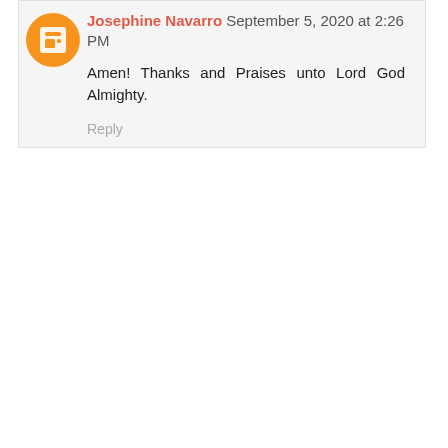Josephine Navarro September 5, 2020 at 2:26 PM
Amen! Thanks and Praises unto Lord God Almighty.
Reply